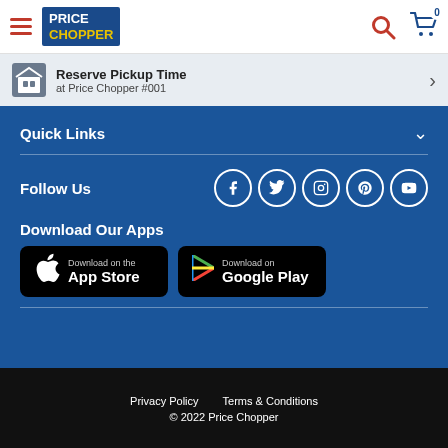[Figure (logo): Price Chopper logo in header with hamburger menu, search icon, and cart icon with badge 0]
Reserve Pickup Time at Price Chopper #001
Quick Links
Follow Us
[Figure (infographic): Social media icons: Facebook, Twitter, Instagram, Pinterest, YouTube]
Download Our Apps
[Figure (screenshot): Download on the App Store button]
[Figure (screenshot): Download on Google Play button]
Privacy Policy   Terms & Conditions
© 2022 Price Chopper